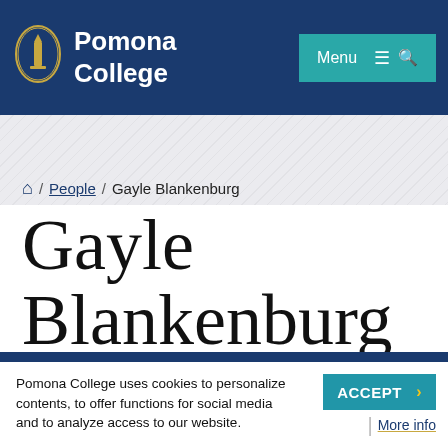[Figure (logo): Pomona College logo with shield and text 'Pomona College' on dark blue header background]
Menu
Home / People / Gayle Blankenburg
Gayle Blankenburg
Pomona College uses cookies to personalize contents, to offer functions for social media and to analyze access to our website.
ACCEPT
More info